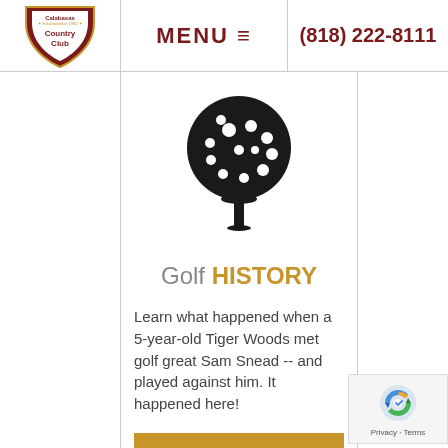MENU ≡   (818) 222-8111
[Figure (logo): Calabasas Country Club shield logo with text 'Established in 1960 Country Club']
[Figure (illustration): Black silhouette icon of a golf ball sitting on a tee]
Golf HISTORY
Learn what happened when a 5-year-old Tiger Woods met golf great Sam Snead -- and played against him. It happened here!
GET THE STORY ▶